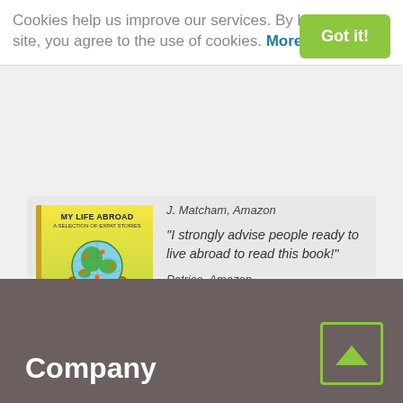Cookies help us improve our services. By browsing this site, you agree to the use of cookies. More info
Got it!
[Figure (illustration): Book cover of 'My Life Abroad: A Selection of Expat Stories'. Yellow-green gradient cover with globe in a suitcase illustration.]
J. Matcham, Amazon
"I strongly advise people ready to live abroad to read this book!"
Patrice, Amazon
More on the book >
Company